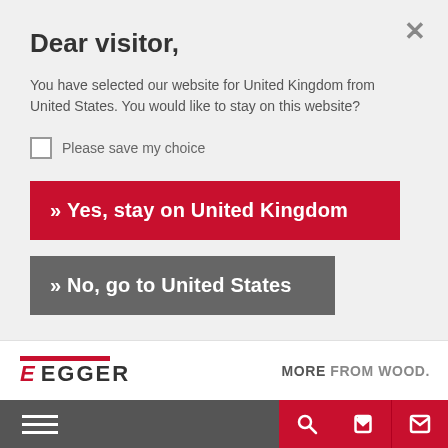Dear visitor,
You have selected our website for United Kingdom from United States. You would like to stay on this website?
Please save my choice
» Yes, stay on United Kingdom
» No, go to United States
[Figure (logo): EGGER logo with red bar above and red E icon, plus tagline 'MORE FROM WOOD.']
Navigation bar with hamburger menu, search icon, phone icon, and mail icon